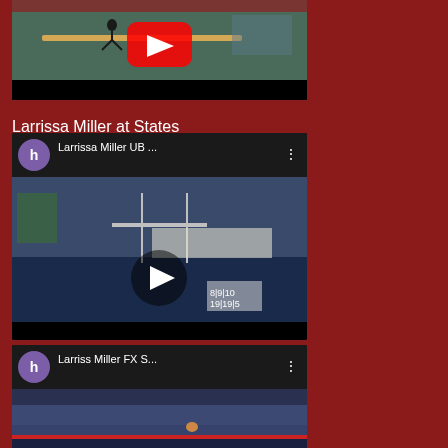[Figure (screenshot): YouTube video thumbnail showing a gymnast on a balance beam, partial view at top of page]
Larrissa Miller at States
[Figure (screenshot): YouTube video embed titled 'Larrissa Miller UB ...' showing gymnastics uneven bars competition at States, with purple 'h' channel icon, play button overlay, scoreboard visible showing 8/9/10 and 19/19/5]
[Figure (screenshot): YouTube video embed titled 'Larriss Miller FX S...' showing gymnastics floor exercise, with purple 'h' channel icon, partially visible at bottom of page]